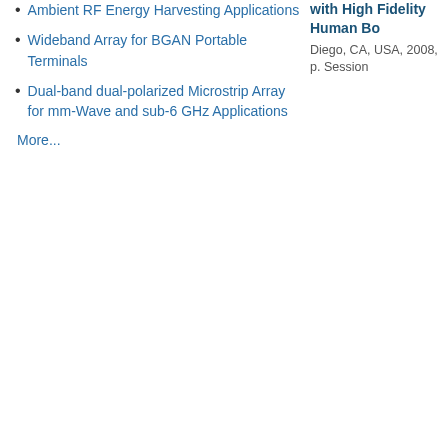Wideband Array for BGAN Portable Terminals
Dual-band dual-polarized Microstrip Array for mm-Wave and sub-6 GHz Applications
More...
with High Fidelity Human Bo...
Diego, CA, USA, 2008, p. Session...
Home | Current Research | Personnel | Publications | Collaboration | Facilities | ... © 2021 - Antenna and High Frequency Research Centre